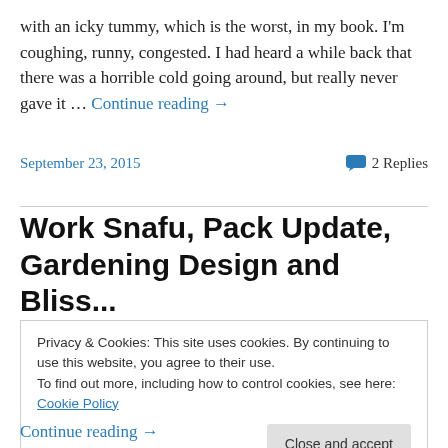with an icky tummy, which is the worst, in my book. I'm coughing, runny, congested. I had heard a while back that there was a horrible cold going around, but really never gave it … Continue reading →
September 23, 2015     2 Replies
Work Snafu, Pack Update, Gardening Design and Bliss...
Privacy & Cookies: This site uses cookies. By continuing to use this website, you agree to their use. To find out more, including how to control cookies, see here: Cookie Policy   Close and accept
Continue reading →